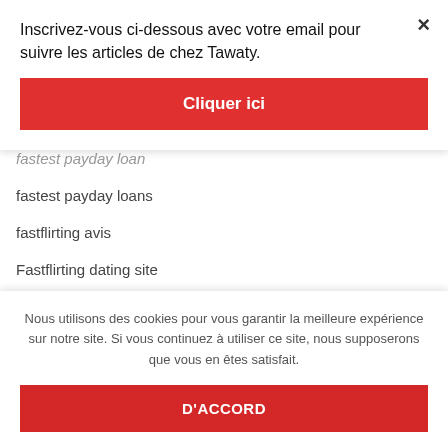Inscrivez-vous ci-dessous avec votre email pour suivre les articles de chez Tawaty.
Cliquer ici
fastest payday loan
fastest payday loans
fastflirting avis
Fastflirting dating site
fastflirting de review
Nous utilisons des cookies pour vous garantir la meilleure expérience sur notre site. Si vous continuez à utiliser ce site, nous supposerons que vous en êtes satisfait.
D'ACCORD